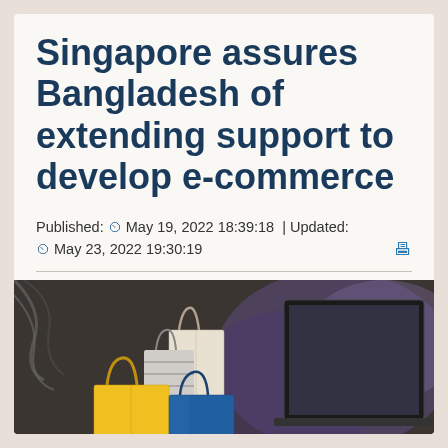Singapore assures Bangladesh of extending support to develop e-commerce
Published: ⌚ May 19, 2022 18:39:18  |  Updated: ⌚ May 23, 2022 19:30:19
[Figure (photo): Shopping bags in yellow, blue, and neutral tones in front of a laptop screen, representing e-commerce.]